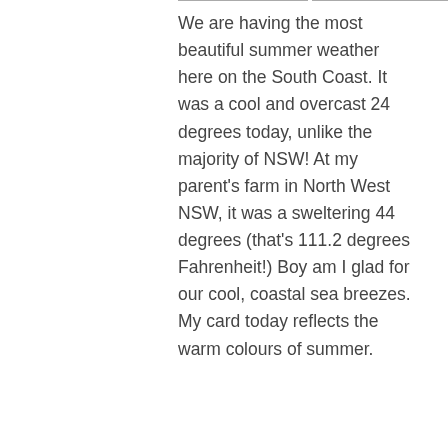We are having the most beautiful summer weather here on the South Coast. It was a cool and overcast 24 degrees today, unlike the majority of NSW! At my parent's farm in North West NSW, it was a sweltering 44 degrees (that's 111.2 degrees Fahrenheit!) Boy am I glad for our cool, coastal sea breezes. My card today reflects the warm colours of summer.